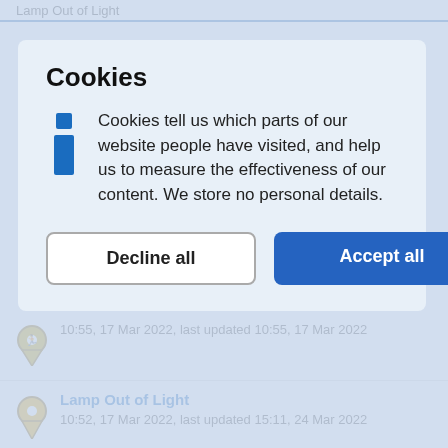Lamp Out of Light
Cookies
Cookies tell us which parts of our website people have visited, and help us to measure the effectiveness of our content. We store no personal details.
10:55, 17 Mar 2022, last updated 10:55, 17 Mar 2022
Lamp Out of Light
10:52, 17 Mar 2022, last updated 15:11, 24 Mar 2022
Lamp Out of Light